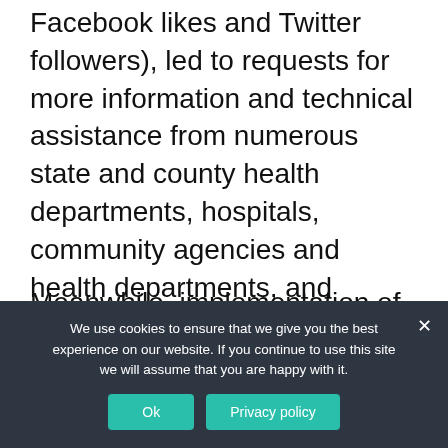Facebook likes and Twitter followers), led to requests for more information and technical assistance from numerous state and county health departments, hospitals, community agencies and health departments, and pharmaceutical companies, among other organizations.
Meanwhile, implementation of the ACA has started to remove out-of-pocket (OOP) expenses of IUD insertion as a barrier to IUD use. As shown by a study in a private practice, the dollar amount of OOP costs can
We use cookies to ensure that we give you the best experience on our website. If you continue to use this site we will assume that you are happy with it.